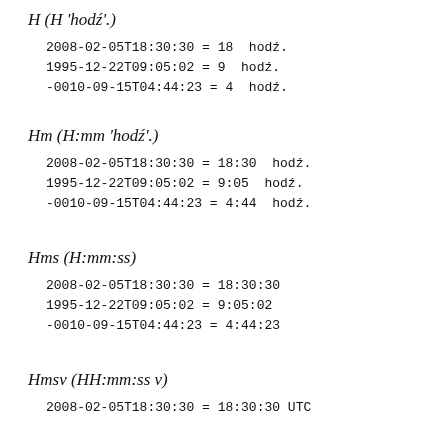H (H 'hodź'.)
2008-02-05T18:30:30 = 18 hodź.
1995-12-22T09:05:02 = 9 hodź.
-0010-09-15T04:44:23 = 4 hodź.
Hm (H:mm 'hodź'.)
2008-02-05T18:30:30 = 18:30 hodź.
1995-12-22T09:05:02 = 9:05 hodź.
-0010-09-15T04:44:23 = 4:44 hodź.
Hms (H:mm:ss)
2008-02-05T18:30:30 = 18:30:30
1995-12-22T09:05:02 = 9:05:02
-0010-09-15T04:44:23 = 4:44:23
Hmsv (HH:mm:ss v)
2008-02-05T18:30:30 = 18:30:30 UTC